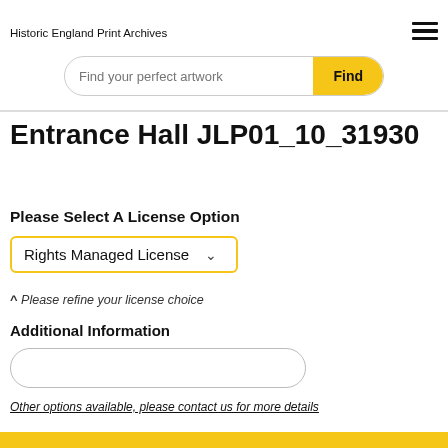Historic England Print Archives
[Figure (screenshot): Search bar with placeholder text 'Find your perfect artwork' and yellow 'Find' button]
Entrance Hall JLP01_10_31930
Please Select A License Option
[Figure (screenshot): Dropdown selector showing 'Rights Managed License' with yellow border and chevron arrow]
^ Please refine your license choice
Additional Information
[Figure (screenshot): Empty text input field with rounded border]
Other options available, please contact us for more details